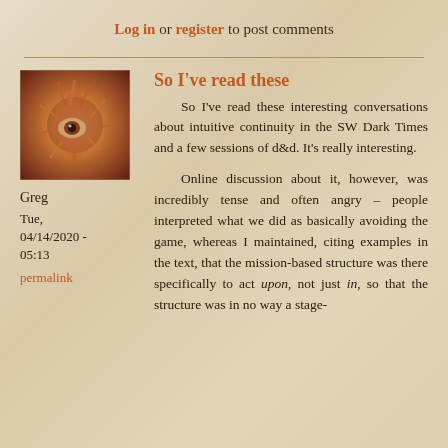Log in or register to post comments
[Figure (photo): Avatar image showing an abstract close-up of a creature, reddish-brown tones]
Greg
Tue, 04/14/2020 - 05:13
permalink
So I've read these
So I've read these interesting conversations about intuitive continuity in the SW Dark Times and a few sessions of d&d. It's really interesting.
Online discussion about it, however, was incredibly tense and often angry – people interpreted what we did as basically avoiding the game, whereas I maintained, citing examples in the text, that the mission-based structure was there specifically to act upon, not just in, so that the structure was in no way a stage-